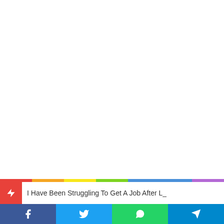I Have Been Struggling To Get A Job After L_
[Figure (infographic): Social media share bar with Facebook, Twitter, WhatsApp, and Telegram buttons]